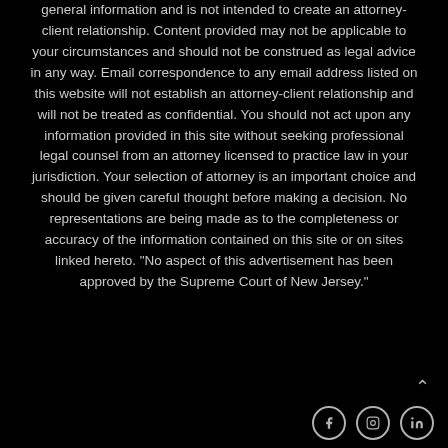general information and is not intended to create an attorney-client relationship. Content provided may not be applicable to your circumstances and should not be construed as legal advice in any way. Email correspondence to any email address listed on this website will not establish an attorney-client relationship and will not be treated as confidential. You should not act upon any information provided in this site without seeking professional legal counsel from an attorney licensed to practice law in your jurisdiction. Your selection of attorney is an important choice and should be given careful thought before making a decision. No representations are being made as to the completeness or accuracy of the information contained on this site or on sites linked hereto. "No aspect of this advertisement has been approved by the Supreme Court of New Jersey."
[Figure (other): Up arrow caret icon and social media icons (Facebook, Instagram, LinkedIn) at bottom right]